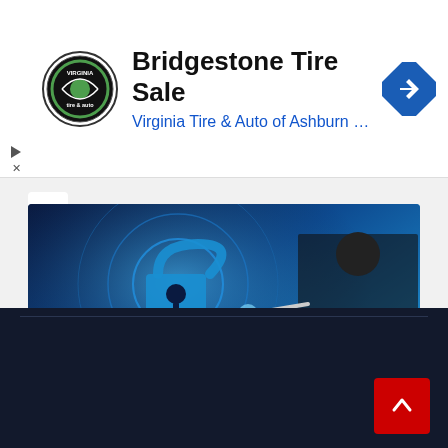[Figure (screenshot): Advertisement banner for Bridgestone Tire Sale by Virginia Tire & Auto of Ashburn with logo and navigation icon]
Bridgestone Tire Sale
Virginia Tire & Auto of Ashburn …
[Figure (photo): Article card with dark blue background showing a glowing keylock and a person pointing at it. Tags: GENERAL, NETWORK ADMIN, SECURITY. Headline: SASE vs SSE – What's the Difference?]
GENERAL  NETWORK ADMIN  SECURITY
SASE vs SSE – What's the Difference?
[Figure (other): Dark navy footer section with a red scroll-to-top button in the bottom right corner]